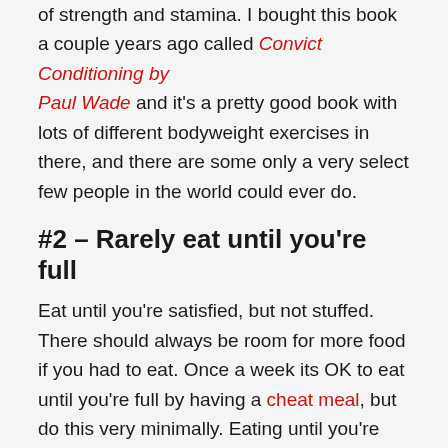of strength and stamina. I bought this book a couple years ago called Convict Conditioning by Paul Wade and it's a pretty good book with lots of different bodyweight exercises in there, and there are some only a very select few people in the world could ever do.
#2 – Rarely eat until you're full
Eat until you're satisfied, but not stuffed. There should always be room for more food if you had to eat. Once a week its OK to eat until you're full by having a cheat meal, but do this very minimally. Eating until you're stuffed, meal after meal, is not going to speed up your growth. The